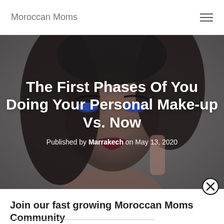Moroccan Moms
[Figure (photo): Close-up photo of a woman with heavy makeup, dark lipstick, dramatic eye makeup and dark hair, used as hero background image with dark overlay]
The First Phases Of You Doing Your Personal Make-up Vs. Now
Published by Marrakech on May 13, 2020
Join our fast growing Moroccan Moms Community
First name